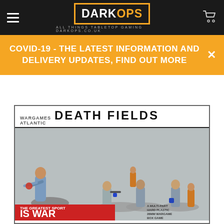Dark Ops - All Things Tabletop Gaming - darkops.co.uk
COVID-19 - THE LATEST INFORMATION AND DELIVERY UPDATES, FIND OUT MORE
[Figure (photo): Wargames Atlantic Death Fields product box art showing painted miniature figures on gaming bases, with text 'THE GREATEST SPORT IS WAR' and side text about multi-part hard plastic 28mm miniatures box set]